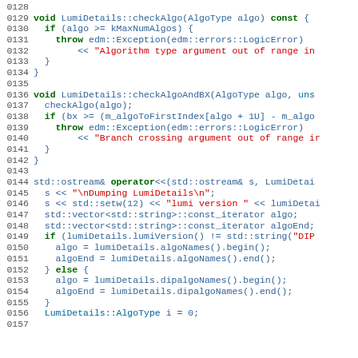[Figure (screenshot): Source code listing in C++ for LumiDetails class methods, showing line numbers 128-157. Code includes checkAlgo, checkAlgoAndBX, and operator<< functions with syntax highlighting: green for keywords, red for string literals, blue for types and identifiers.]